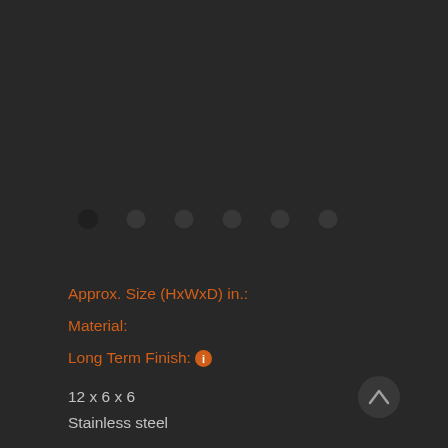[Figure (other): Image carousel dot navigation indicators — six dots in a row, first dot active/filled darker, rest lighter]
Approx. Size (HxWxD) in.:
Material:
Long Term Finish: ℹ
12 x 6 x 6
Stainless steel
Retains shiny finish